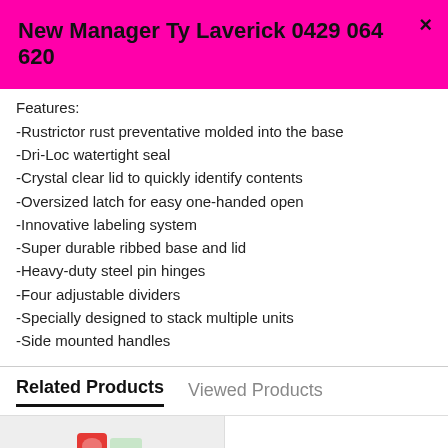New Manager Ty Laverick 0429 064 620
Features:
-Rustrictor rust preventative molded into the base
-Dri-Loc watertight seal
-Crystal clear lid to quickly identify contents
-Oversized latch for easy one-handed open
-Innovative labeling system
-Super durable ribbed base and lid
-Heavy-duty steel pin hinges
-Four adjustable dividers
-Specially designed to stack multiple units
-Side mounted handles
Related Products
Viewed Products